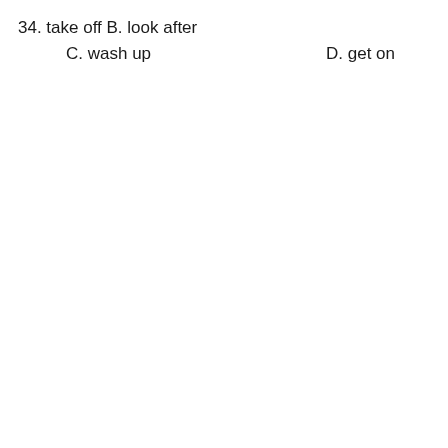34. take off B. look after C. wash up D. get on